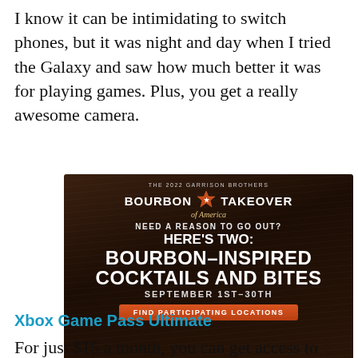I know it can be intimidating to switch phones, but it was night and day when I tried the Galaxy and saw how much better it was for playing games. Plus, you get a really awesome camera.
[Figure (advertisement): The 2022 Garrison Brothers Bourbon Takeover of America advertisement. Dark wood background. Text reads: NEED A REASON TO GO OUT? HERE'S TWO: BOURBON-INSPIRED COCKTAILS AND BITES SEPTEMBER 1ST-30TH. Orange button: FIND PARTICIPATING LOCATIONS]
Xbox Game Pass Ultimate
For just $15 a month, you can get access to and play more